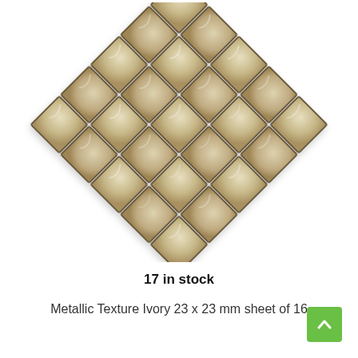[Figure (photo): A 5x5 arrangement of square metallic texture ivory mosaic tiles arranged in a diamond/rotated grid pattern. Tiles are beige/ivory colored with textured surface and dark grout lines between them.]
17 in stock
Metallic Texture Ivory 23 x 23 mm sheet of 16